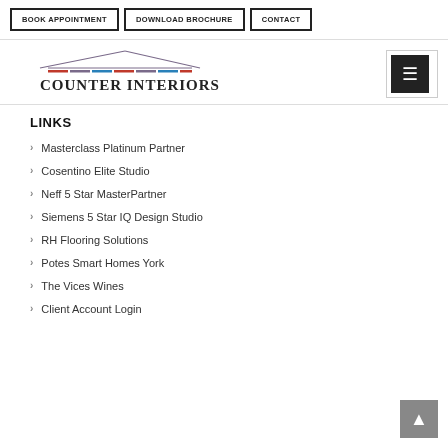BOOK APPOINTMENT | DOWNLOAD BROCHURE | CONTACT
[Figure (logo): Counter Interiors logo with house/roofline graphic above text]
LINKS
Masterclass Platinum Partner
Cosentino Elite Studio
Neff 5 Star MasterPartner
Siemens 5 Star IQ Design Studio
RH Flooring Solutions
Potes Smart Homes York
The Vices Wines
Client Account Login